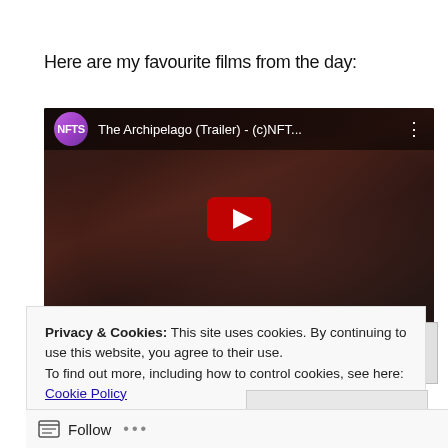Here are my favourite films from the day:
[Figure (screenshot): YouTube video embed showing 'The Archipelago (Trailer) - (c)NFT...' with NFTS channel avatar (purple/pink gradient circle), video thumbnail showing a bloody face scene, and a YouTube play button in the center.]
Privacy & Cookies: This site uses cookies. By continuing to use this website, you agree to their use.
To find out more, including how to control cookies, see here: Cookie Policy
Close and accept
Follow